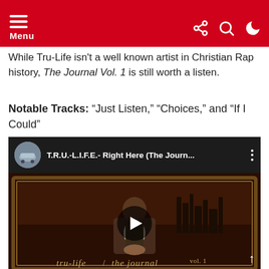Menu (navigation bar with share, search, and dark mode icons)
While Tru-Life isn't a well known artist in Christian Rap history, The Journal Vol. 1 is still worth a listen.
Notable Tracks: “Just Listen,” “Choices,” and “If I Could”
[Figure (screenshot): YouTube video embed showing T.R.U.-L.I.F.E.- Right Here (The Journ... with album art for tru-life / the journal vol. 1 featuring a man in a vest with city background, with play button overlay]